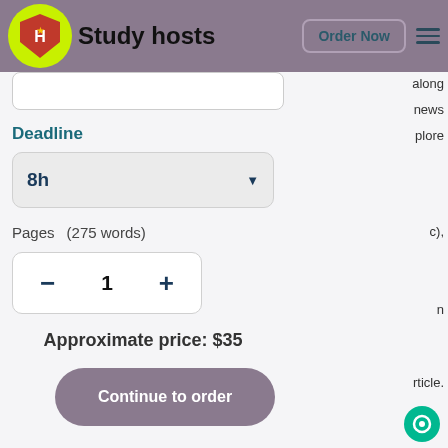Study hosts | Order Now
Deadline
8h
Pages   (275 words)
1
Approximate price: $35
Continue to order
Please apply your knowledge from this course and incorporate it into your discussion (1 page)
Font type and size: Times New Roman/Times, 12-point size